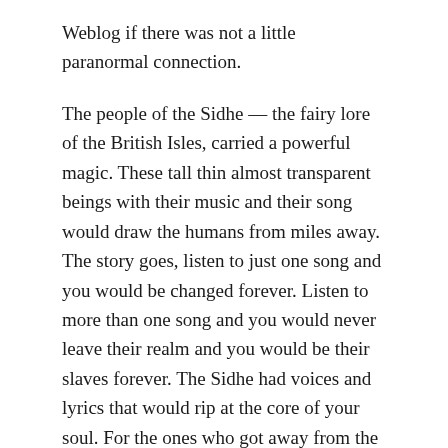Weblog if there was not a little paranormal connection.
The people of the Sidhe — the fairy lore of the British Isles, carried a powerful magic. These tall thin almost transparent beings with their music and their song would draw the humans from miles away. The story goes, listen to just one song and you would be changed forever. Listen to more than one song and you would never leave their realm and you would be their slaves forever. The Sidhe had voices and lyrics that would rip at the core of your soul. For the ones who got away from the Sidhe, this unique sound would never leave them, it was embedded into the fabric of the mind.
I believe there are people today in the UK, including Ireland who carry still this music Magic, and they have the ability to belt it out. Today its control over humans is a bit mellower, but still a beautiful powerful sound, one person